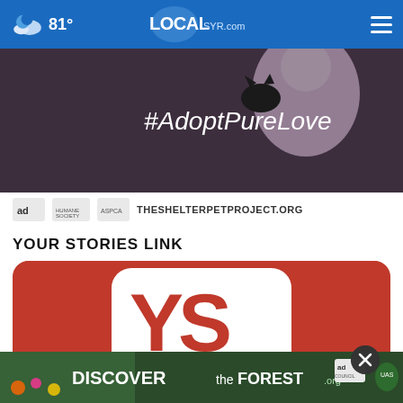81° LOCALsyr.com
[Figure (photo): Advertisement banner for The Shelter Pet Project — #AdoptPureLove campaign showing a person holding a black cat]
[Figure (logo): Ad Council, Humane Society, and ASPCA logos with THESHELTERPETPROJECT.ORG text]
YOUR STORIES LINK
[Figure (logo): Your Stories Link logo — red rounded square with white YS letters]
[Figure (photo): Bottom advertisement banner: DISCOVERtheFOREST.org with Ad Council and US Forest Service logos]